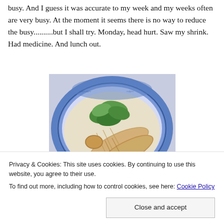busy. And I guess it was accurate to my week and my weeks often are very busy. At the moment it seems there is no way to reduce the busy..........but I shall try. Monday, head hurt. Saw my shrink. Had medicine. And lunch out.
[Figure (photo): Photo of spring rolls and green leafy vegetables on a blue and white decorative plate]
Privacy & Cookies: This site uses cookies. By continuing to use this website, you agree to their use.
To find out more, including how to control cookies, see here: Cookie Policy